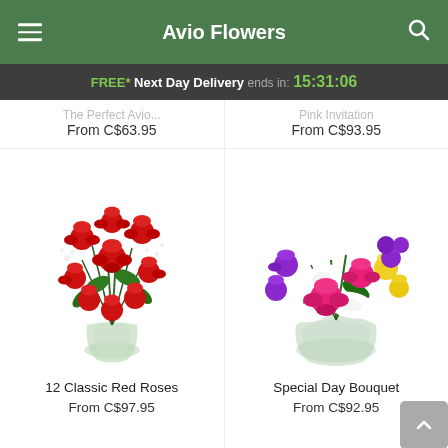Avio Flowers
FREE* Next Day Delivery ends in: 15:31:06
From C$63.95
From C$93.95
[Figure (photo): Bouquet of 12 classic red roses with baby's breath in a clear glass vase]
[Figure (photo): Special day bouquet with pink roses, white lilies, purple orchids and yellow flowers in a clear round vase]
12 Classic Red Roses
From C$97.95
Special Day Bouquet
From C$92.95